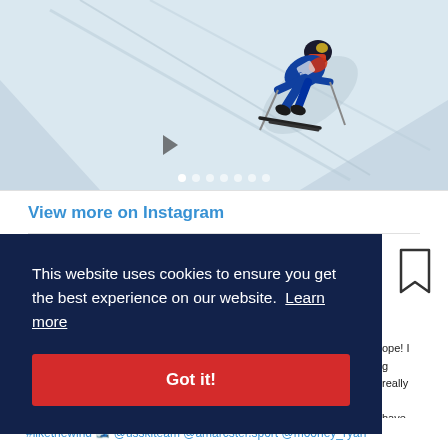[Figure (photo): A skier racing downhill on snow, wearing a blue and red racing suit, viewed from above on a slope track.]
View more on Instagram
This website uses cookies to ensure you get the best experience on our website.  Learn more
Got it!
oppe! I g really have
#likethewind 🎿 @usskiteam @amarcster.sport @mooney_ryan